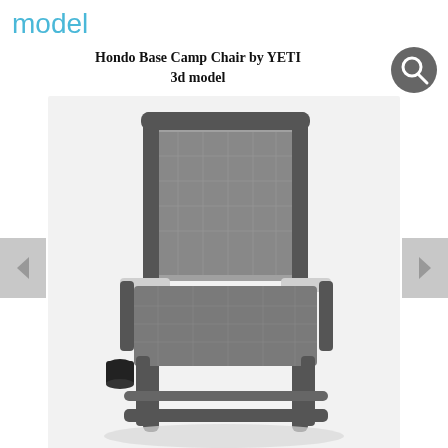model
Hondo Base Camp Chair by YETI
3d model
[Figure (photo): 3D rendered front view of Hondo Base Camp Chair by YETI, a dark gray camp chair with mesh back and seat, armrests, and a cup holder on the left side. Below the main image are four thumbnail images showing different views and renders of the chair.]
This is a 3d model of Hondo Base Camp Chair by YETI, unwrapped and textured.
Formats: 3dsmax 2016, OBJ, FBX.